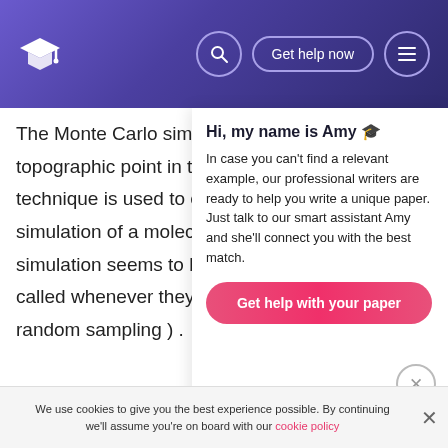Header with logo, search, Get help now button, and menu icon
The Monte Carlo simulati topographic point in the h technique is used to exec simulation of a molecular simulation seems to be a called whenever they con random sampling ) .
Hi, my name is Amy 🎓
In case you can't find a relevant example, our professional writers are ready to help you write a unique paper. Just talk to our smart assistant Amy and she'll connect you with the best match.
Get help with your paper
In molecular docking the look of Monte Carlo means importance trying or Metropolis method. The Metropolis method is really a Markov concatenation Monte Carlo
We use cookies to give you the best experience possible. By continuing we'll assume you're on board with our cookie policy